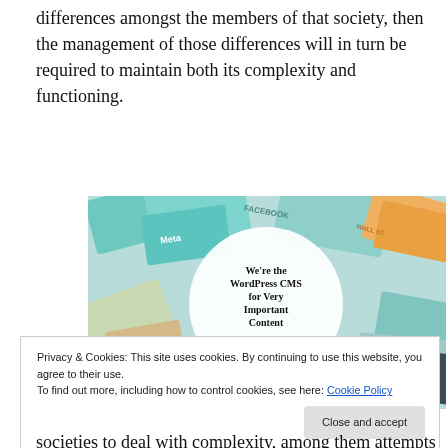differences amongst the members of that society, then the management of those differences will in turn be required to maintain both its complexity and functioning.
[Figure (illustration): WordPress VIP advertisement showing colorful brand cards/documents in the background with a white circle overlay containing the text 'We're the WordPress CMS for Very Important Content' with the WordPress VIP logo and a 'Learn more' button.]
Privacy & Cookies: This site uses cookies. By continuing to use this website, you agree to their use.
To find out more, including how to control cookies, see here: Cookie Policy
societies to deal with complexity, among them attempts to